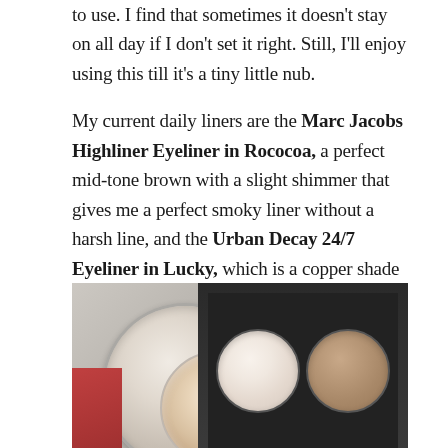to use. I find that sometimes it doesn't stay on all day if I don't set it right. Still, I'll enjoy using this till it's a tiny little nub.

My current daily liners are the Marc Jacobs Highliner Eyeliner in Rococoa, a perfect mid-tone brown with a slight shimmer that gives me a perfect smoky liner without a harsh line, and the Urban Decay 24/7 Eyeliner in Lucky, which is a copper shade I've used for years as a lower lashline liner. I've finished at least 2 of these and already have a backup waiting.
[Figure (photo): Two makeup compacts/eye shadow palettes. On the left, a round silver compact open showing a shimmer peachy-gold pan. On the right, a black rectangular palette open showing two round pans — one light beige and one medium taupe/brown.]